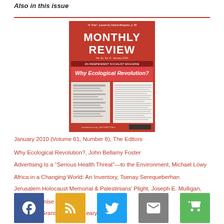Also in this issue
[Figure (photo): Cover of Monthly Review magazine, January 2010, Volume 61 Number 8. Title reads 'Why Ecological Revolution?' on a red background with text and table of contents.]
January 2010 (Volume 61, Number 8), The Editors
Why Ecological Revolution?, John Bellamy Foster
Advertising Is a “Serious Health Threat”—to the Environment, Michael Löwy
Africa in a Changing World: An Inventory, Tsenay Serequeberhan
Jerusalem Holocaust Memorial & Palestinians’ Plight, Joseph E. Mulligan, S.J.
In Time, Denise Bergman
Gramsci’s Grandchild, Elly Leary
[Figure (infographic): Row of five social media icon buttons: Facebook (blue), RSS (yellow/orange), Twitter (light blue), Email (gray), Shopping cart (green).]